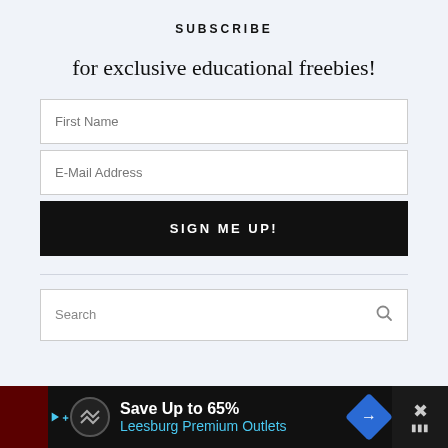SUBSCRIBE
for exclusive educational freebies!
[Figure (screenshot): Web form with First Name input field, E-Mail Address input field, and a black SIGN ME UP! button]
[Figure (screenshot): Search box with placeholder text 'Search' and a magnifying glass icon]
[Figure (infographic): Advertisement banner: Save Up to 65% Leesburg Premium Outlets with logo and navigation icon]